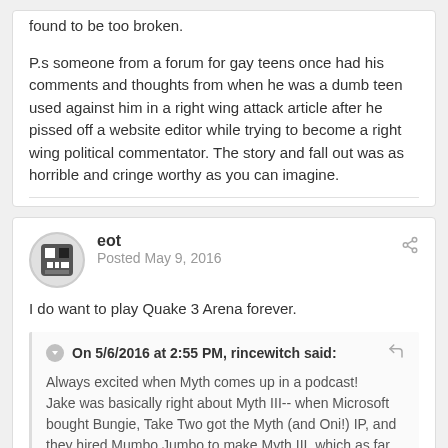found to be too broken.
P.s someone from a forum for gay teens once had his comments and thoughts from when he was a dumb teen used against him in a right wing attack article after he pissed off a website editor while trying to become a right wing political commentator. The story and fall out was as horrible and cringe worthy as you can imagine.
eot
Posted May 9, 2016
I do want to play Quake 3 Arena forever.
On 5/6/2016 at 2:55 PM, rincewitch said:
Always excited when Myth comes up in a podcast!
Jake was basically right about Myth III-- when Microsoft bought Bungie, Take Two got the Myth (and Oni!) IP, and they hired Mumbo Jumbo to make Myth III, which as far as I know literally